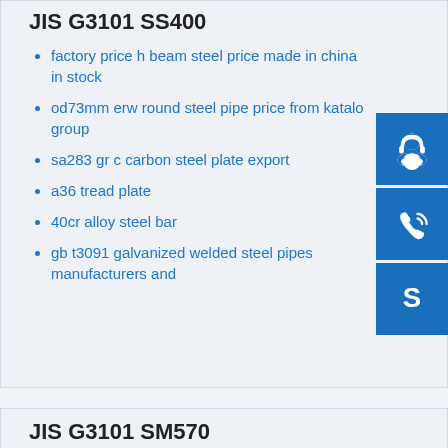JIS G3101 SS400
factory price h beam steel price made in china in stock
od73mm erw round steel pipe price from katalo group
sa283 gr c carbon steel plate export
a36 tread plate
40cr alloy steel bar
gb t3091 galvanized welded steel pipes manufacturers and
JIS G3101 SM570
ss 321 pipe ss 321 pipe suppliers and